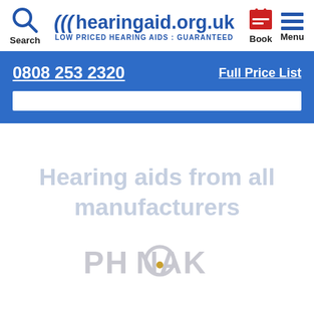Search | hearingaid.org.uk LOW PRICED HEARING AIDS : GUARANTEED | Book | Menu
0808 253 2320
Full Price List
Hearing aids from all manufacturers
[Figure (logo): PHONAK brand logo in faded grey color]